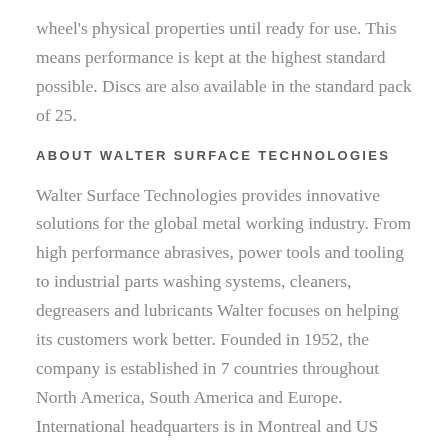wheel's physical properties until ready for use. This means performance is kept at the highest standard possible. Discs are also available in the standard pack of 25.
ABOUT WALTER SURFACE TECHNOLOGIES
Walter Surface Technologies provides innovative solutions for the global metal working industry. From high performance abrasives, power tools and tooling to industrial parts washing systems, cleaners, degreasers and lubricants Walter focuses on helping its customers work better. Founded in 1952, the company is established in 7 countries throughout North America, South America and Europe. International headquarters is in Montreal and US headquarters is located in Windsor, Connecticut. Key